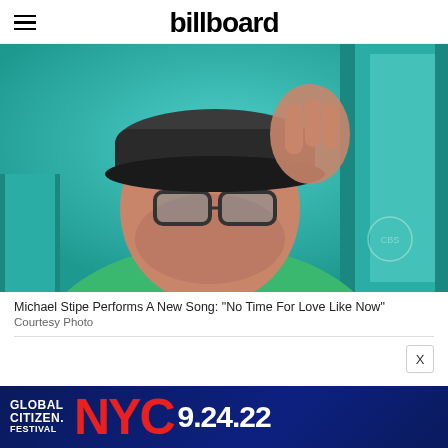billboard
[Figure (photo): Man wearing glasses and a dark cap touching the brim of his cap, wearing a green sweater, photographed close-up in front of a teal/green background.]
Michael Stipe Performs A New Song: "No Time For Love Like Now"
Courtesy Photo
[Figure (infographic): Advertisement banner for Global Citizen Festival NYC 9.24.22 on dark blue background with red NYC text.]